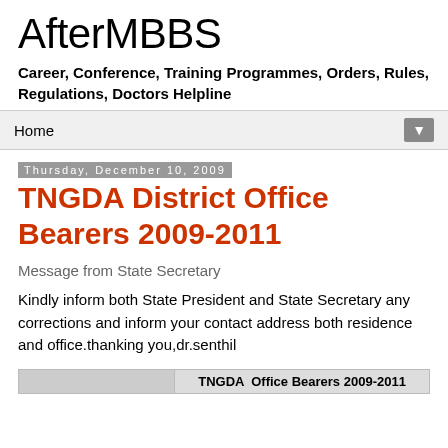AfterMBBS
Career, Conference, Training Programmes, Orders, Rules, Regulations, Doctors Helpline
Home ▼
Thursday, December 10, 2009
TNGDA District Office Bearers 2009-2011
Message from State Secretary
Kindly inform both State President and State Secretary any corrections and inform your contact address both residence and office.thanking you,dr.senthil
|  | TNGDA  Office Bearers 2009-2011 |
| --- | --- |